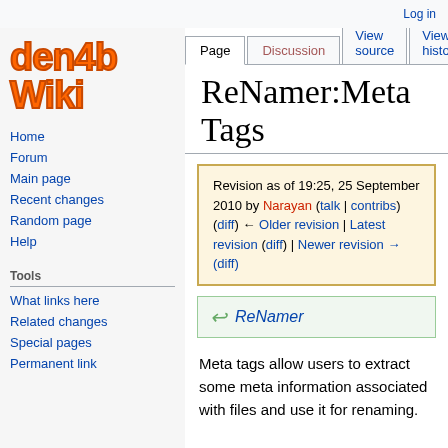Log in
[Figure (logo): den4b Wiki logo in orange comic-style font]
Page | Discussion | View source | View history | Search
ReNamer:Meta Tags
Revision as of 19:25, 25 September 2010 by Narayan (talk | contribs)
(diff) ← Older revision | Latest revision (diff) | Newer revision → (diff)
Home
Forum
Main page
Recent changes
Random page
Help
Tools
What links here
Related changes
Special pages
Permanent link
ReNamer
Meta tags allow users to extract some meta information associated with files and use it for renaming.